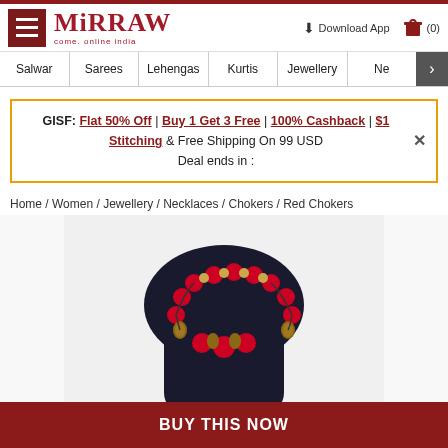Mirraw | come. online india | Download App | (0)
Salwar | Sarees | Lehengas | Kurtis | Jewellery | Ne >
GISF: Flat 50% Off | Buy 1 Get 3 Free | 100% Cashback | $1 Stitching & Free Shipping On 99 USD Deal ends in :
Home / Women / Jewellery / Necklaces / Chokers / Red Chokers
[Figure (photo): Red silk thread beaded choker necklace with gold accents on a dark mannequin bust]
BUY THIS NOW